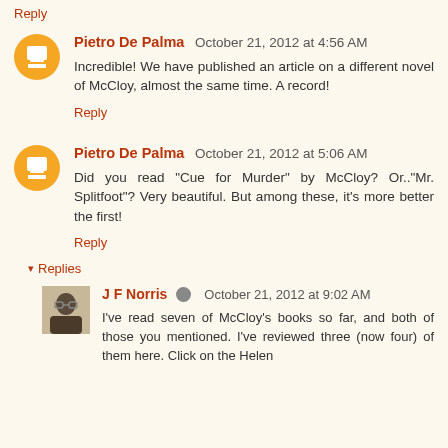Reply
Pietro De Palma  October 21, 2012 at 4:56 AM
Incredible! We have published an article on a different novel of McCloy, almost the same time. A record!
Reply
Pietro De Palma  October 21, 2012 at 5:06 AM
Did you read "Cue for Murder" by McCloy? Or.."Mr. Splitfoot"? Very beautiful. But among these, it's more better the first!
Reply
Replies
J F Norris  October 21, 2012 at 9:02 AM
I've read seven of McCloy's books so far, and both of those you mentioned. I've reviewed three (now four) of them here. Click on the Helen